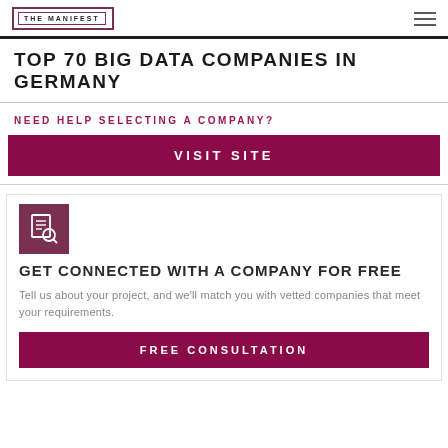THE MANIFEST
TOP 70 BIG DATA COMPANIES IN GERMANY
NEED HELP SELECTING A COMPANY?
VISIT SITE
[Figure (logo): Search/magnifying glass icon on dark red background]
GET CONNECTED WITH A COMPANY FOR FREE
Tell us about your project, and we'll match you with vetted companies that meet your requirements.
FREE CONSULTATION